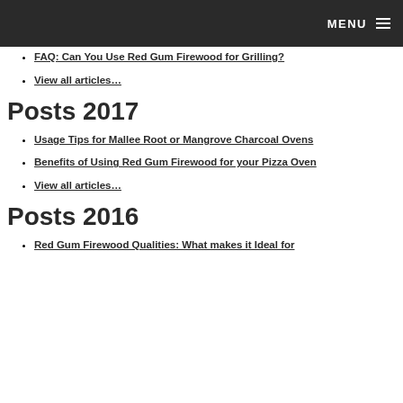MENU
FAQ: Can You Use Red Gum Firewood for Grilling?
View all articles…
Posts 2017
Usage Tips for Mallee Root or Mangrove Charcoal Ovens
Benefits of Using Red Gum Firewood for your Pizza Oven
View all articles…
Posts 2016
Red Gum Firewood Qualities: What makes it Ideal for